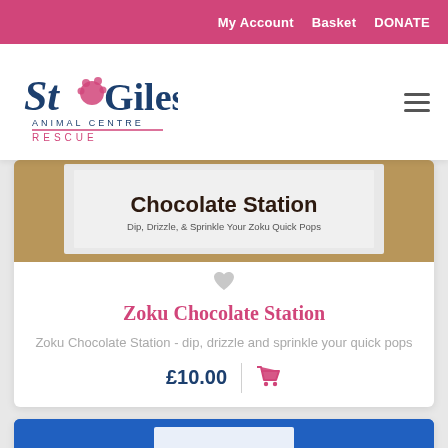My Account  Basket  DONATE
[Figure (logo): St Giles Animal Centre Rescue logo with paw print]
[Figure (photo): Zoku Chocolate Station product box showing text: Chocolate Station - Dip, Drizzle, & Sprinkle Your Zoku Quick Pops]
Zoku Chocolate Station
Zoku Chocolate Station - dip, drizzle and sprinkle your quick pops
£10.00
[Figure (photo): Partial view of a second product card with blue background]